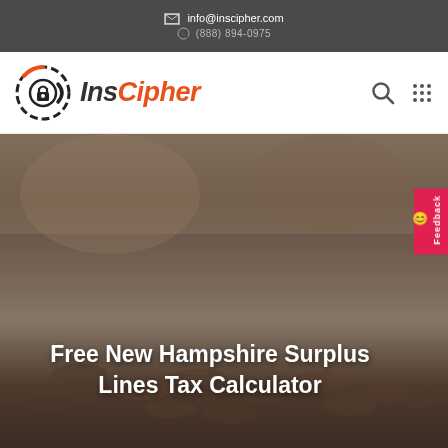info@inscipher.com
[Figure (logo): InsCipher company logo with circular lock icon and orange/black text]
Free New Hampshire Surplus Lines Tax Calculator